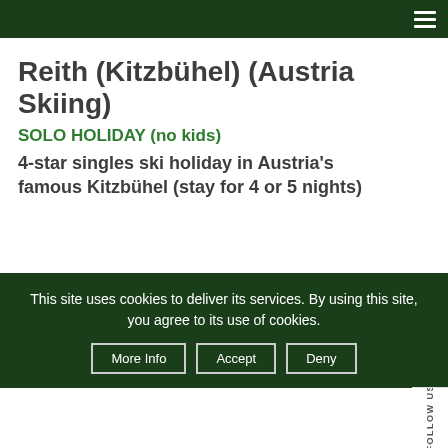Navigation bar with hamburger menu
Reith (Kitzbühel) (Austria Skiing)
SOLO HOLIDAY (no kids)
4-star singles ski holiday in Austria's famous Kitzbühel (stay for 4 or 5 nights)
This site uses cookies to deliver its services. By using this site, you agree to its use of cookies.
More Info | Accept | Deny